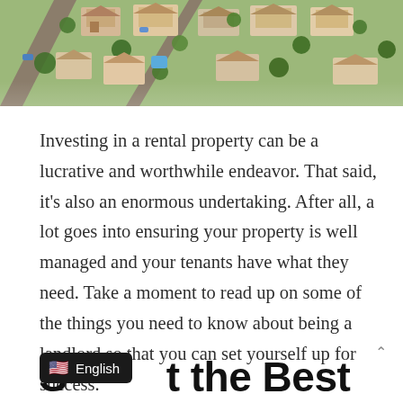[Figure (photo): Aerial view of a residential neighborhood with houses, trees, and streets, viewed from above at an angle.]
Investing in a rental property can be a lucrative and worthwhile endeavor. That said, it's also an enormous undertaking. After all, a lot goes into ensuring your property is well managed and your tenants have what they need. Take a moment to read up on some of the things you need to know about being a landlord so that you can set yourself up for success.
S...t the Best ...l P...i...